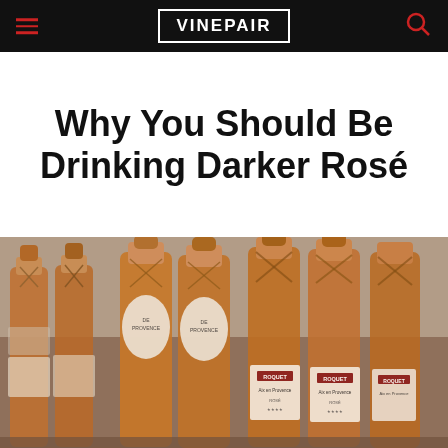VINEPAIR
Why You Should Be Drinking Darker Rosé
[Figure (photo): Multiple bottles of rosé wine displayed closely together, showing amber/dark pink colored wine inside, with labels including 'Roquetai' brand visible on the right side bottles]